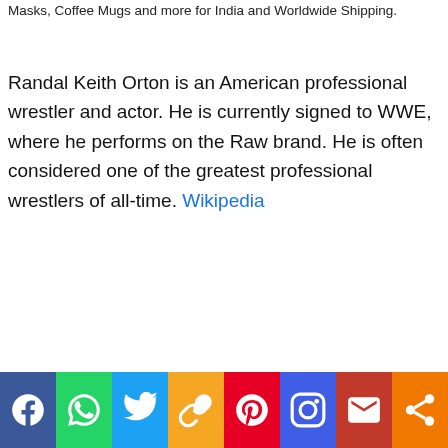Masks, Coffee Mugs and more for India and Worldwide Shipping.
Randal Keith Orton is an American professional wrestler and actor. He is currently signed to WWE, where he performs on the Raw brand. He is often considered one of the greatest professional wrestlers of all-time. Wikipedia
[Figure (infographic): Social media sharing bar with icons: Facebook (blue), WhatsApp (green), Twitter (light blue), Link/Copy (yellow-orange), Pinterest (red), Instagram (blue-purple), Gmail (dark red), Share (orange)]